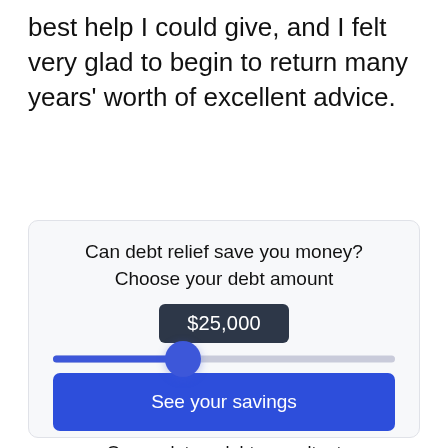best help I could give, and I felt very glad to begin to return many years' worth of excellent advice.
[Figure (infographic): Interactive debt relief widget with title 'Can debt relief save you money? Choose your debt amount', a $25,000 value badge, a slider set to approximately 25% of range, a blue 'See your savings' button, and text 'Or speak to a debt consultant' with a partial phone number 800-610-4560]
Or speak to a debt consultant
800-610-4560